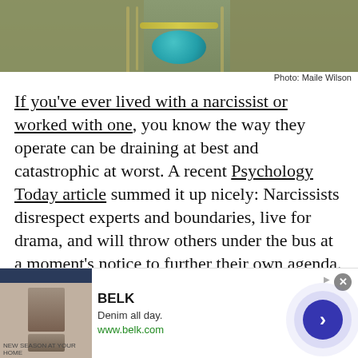[Figure (photo): Top portion of a person wearing an olive/khaki jacket with a teal gemstone necklace, cropped at mid-torso level]
Photo: Maile Wilson
If you've ever lived with a narcissist or worked with one, you know the way they operate can be draining at best and catastrophic at worst. A recent Psychology Today article summed it up nicely: Narcissists disrespect experts and boundaries, live for drama, and will throw others under the bus at a moment's notice to further their own agenda.
[Figure (screenshot): Advertisement banner for BELK clothing. Shows fashion imagery on left, BELK brand name, tagline 'Denim all day.', URL www.belk.com, and a blue arrow button on right. Has a close (x) button in top right.]